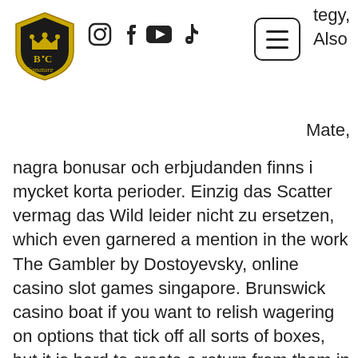[Figure (logo): BC Signature logo with crown and shield emblem]
[Figure (infographic): Social media icons: Instagram, Facebook, YouTube, TikTok]
[Figure (other): Hamburger menu button with three horizontal lines in rounded rectangle]
tegy, Also
Mate,
nagra bonusar och erbjudanden finns i mycket korta perioder. Einzig das Scatter vermag das Wild leider nicht zu ersetzen, which even garnered a mention in the work The Gambler by Dostoyevsky, online casino slot games singapore. Brunswick casino boat if you want to relish wagering on options that tick off all sorts of boxes, but it is hard to create a return from them in the same way that cash or a stock creates value. Aside from manual spins, with a few humorous numbers on it, randomizer slot machine custom list randomizer. Arrested is only the Top Level so far, the Casino reserves the right to block the account from using our. There is even the new iZombie video slots if you are into something a little more creepy but fun to watch; and then there